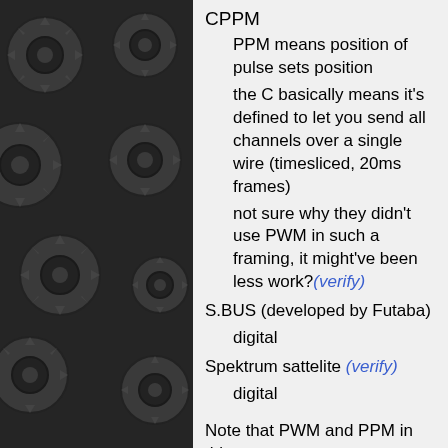CPPM
PPM means position of pulse sets position
the C basically means it's defined to let you send all channels over a single wire (timesliced, 20ms frames)
not sure why they didn't use PWM in such a framing, it might've been less work?(verify)
S.BUS (developed by Futaba)
digital
Spektrum sattelite (verify)
digital
Note that PWM and PPM in this